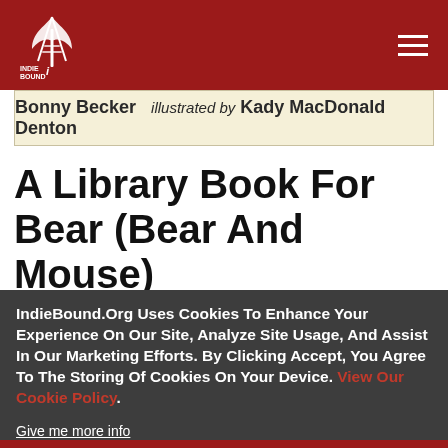IndieBound logo and navigation header
Bonny Becker  illustrated by Kady MacDonald Denton
A Library Book For Bear (Bear And Mouse)
Bonny Becker, Kady MacDonald
IndieBound.Org Uses Cookies To Enhance Your Experience On Our Site, Analyze Site Usage, And Assist In Our Marketing Efforts. By Clicking Accept, You Agree To The Storing Of Cookies On Your Device. View Our Cookie Policy.
Give me more info